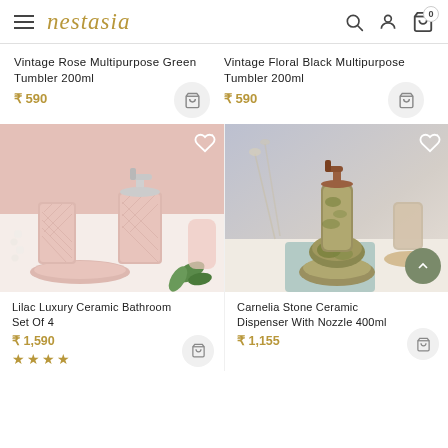nestasia — navigation header with hamburger menu, logo, search, user, and cart icons
Vintage Rose Multipurpose Green Tumbler 200ml
₹ 590
Vintage Floral Black Multipurpose Tumbler 200ml
₹ 590
[Figure (photo): Pink ceramic bathroom set including a soap dispenser with silver nozzle, toothbrush holder, and soap dish, displayed on a white surface with green leaves]
[Figure (photo): Stone-textured ceramic soap dispenser with bronze nozzle stacked on pebble-shaped bases, with a toothbrush holder and soap dish in background]
Lilac Luxury Ceramic Bathroom Set Of 4
₹ 1,590
★★★★
Carnelia Stone Ceramic Dispenser With Nozzle 400ml
₹ 1,155